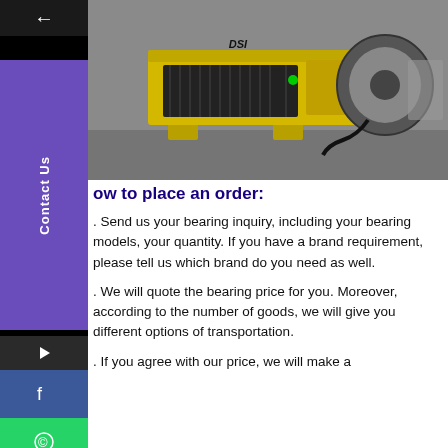[Figure (photo): Yellow industrial DSI bearing/winding machine on a concrete floor, with a large spool/reel on the right side and cables attached.]
How to place an order:
1. Send us your bearing inquiry, including your bearing models, your quantity. If you have a brand requirement, please tell us which brand do you need as well.
2. We will quote the bearing price for you. Moreover, according to the number of goods, we will give you different options of transportation.
3. If you agree with our price, we will make a